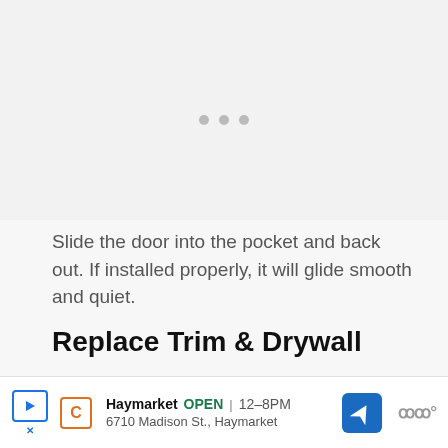[Figure (photo): Image placeholder with three gray dots centered, representing a slideshow or loading indicator for a pocket door installation photo]
Slide the door into the pocket and back out. If installed properly, it will glide smooth and quiet.
Replace Trim & Drywall
Put the trim and framing back in its designated place...
[Figure (infographic): Advertisement banner: Haymarket OPEN 12–8PM, 6710 Madison St., Haymarket, with navigation icon and logo]